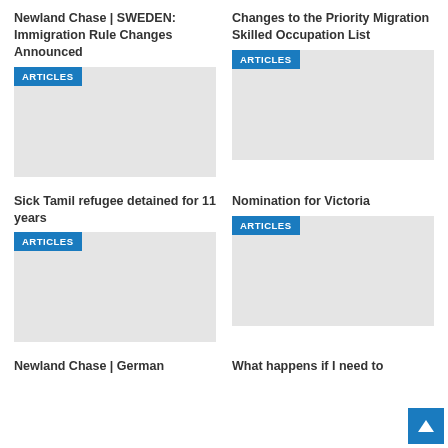Newland Chase | SWEDEN: Immigration Rule Changes Announced
[Figure (other): Article thumbnail image placeholder with ARTICLES badge]
Changes to the Priority Migration Skilled Occupation List
[Figure (other): Article thumbnail image placeholder with ARTICLES badge]
Sick Tamil refugee detained for 11 years
[Figure (other): Article thumbnail image placeholder with ARTICLES badge]
Nomination for Victoria
[Figure (other): Article thumbnail image placeholder with ARTICLES badge]
Newland Chase | German
What happens if I need to